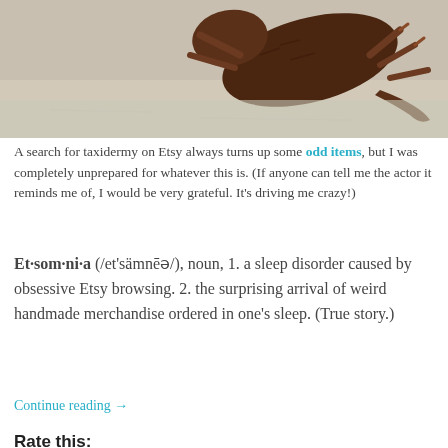[Figure (photo): Cropped photo of a taxidermied animal (appears bat or squirrel-like) lying on a light concrete surface, dark brown fur, visible legs/claws]
A search for taxidermy on Etsy always turns up some odd items, but I was completely unprepared for whatever this is. (If anyone can tell me the actor it reminds me of, I would be very grateful. It's driving me crazy!)
Et·som·ni·a (/et'sämnēə/), noun, 1. a sleep disorder caused by obsessive Etsy browsing. 2. the surprising arrival of weird handmade merchandise ordered in one's sleep. (True story.)
Continue reading →
Rate this:
★★★★★ ℹ 8 Votes
Categories: Crafts, Etsomnia™, Shopping | Tags: art, bizarre, dolls, etsy, fashion, felting, goth, horror, jewelry, joke gifts, scary, shopping, weird,